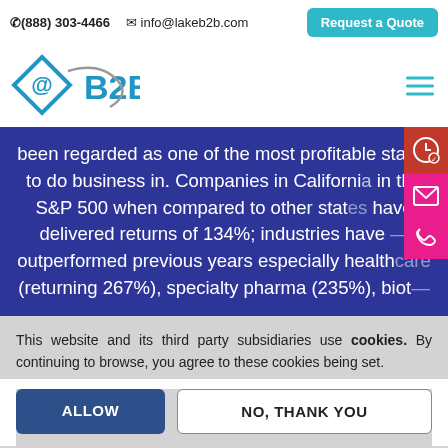(888) 303-4466  info@lakeb2b.com  Request a Quote
[Figure (logo): Lake B2B logo with blue diamond @B2B symbol]
been regarded as one of the most profitable states to do business in. Companies in California in the S&P 500 when compared to other states have delivered returns of 134%; industries have outperformed previous years especially healthcare (returning 267%), specialty pharma (235%), biot-
This website and its third party subsidiaries use cookies. By continuing to browse, you agree to these cookies being set.
ALLOW   NO, THANK YOU